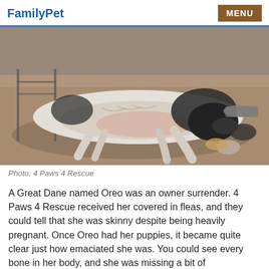FamilyPet | MENU
[Figure (photo): A thin emaciated Great Dane dog lying on its side on dirt ground outdoors, with visible ribs and spine, black and white coloring, near a metal chair and food bowl]
Photo: 4 Paws 4 Rescue
A Great Dane named Oreo was an owner surrender. 4 Paws 4 Rescue received her covered in fleas, and they could tell that she was skinny despite being heavily pregnant. Once Oreo had her puppies, it became quite clear just how emaciated she was. You could see every bone in her body, and she was missing a bit of